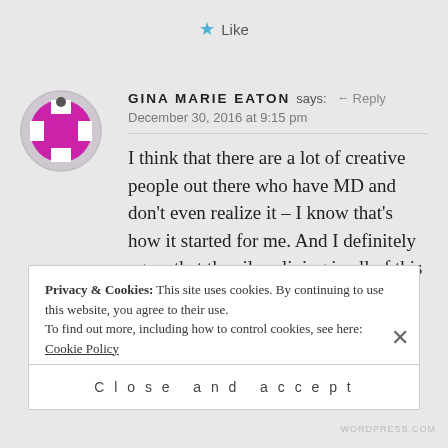Like
GINA MARIE EATON says: ← Reply
December 30, 2016 at 9:15 pm
I think that there are a lot of creative people out there who have MD and don't even realize it – I know that's how it started for me. And I definitely agree that the silver lining in all of this is that our daydreams can make
Privacy & Cookies: This site uses cookies. By continuing to use this website, you agree to their use. To find out more, including how to control cookies, see here: Cookie Policy
Close and accept